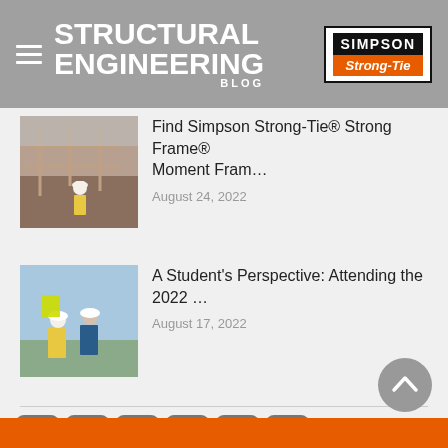STRUCTURAL ENGINEERING BLOG — Simpson Strong-Tie
[Figure (photo): Construction site photo showing framing and a worker in yellow vest and hard hat]
Find Simpson Strong-Tie® Strong Frame® Moment Fram…
August 24, 2022
[Figure (photo): Two workers in yellow vests and white hard hats at a construction site outdoors]
A Student's Perspective: Attending the 2022 …
August 17, 2022
[Figure (infographic): Social media icons: Facebook, Twitter, LinkedIn, YouTube, Pinterest, Instagram]
[Figure (other): Back to top arrow button (chevron up)]